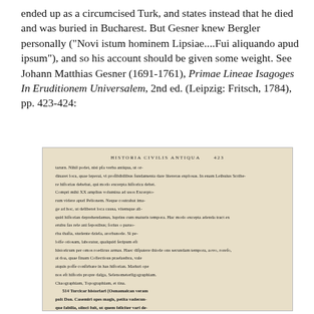ended up as a circumcised Turk, and states instead that he died and was buried in Bucharest. But Gesner knew Bergler personally ("Novi istum hominem Lipsiae....Fui aliquando apud ipsum"), and so his account should be given some weight. See Johann Matthias Gesner (1691-1761), Primae Lineae Isagoges In Eruditionem Universalem, 2nd ed. (Leipzig: Fritsch, 1784), pp. 423-424:
[Figure (photo): A scanned page from an 18th century Latin book showing 'Historia Civilis Antiqua' header with page number 423, containing dense Latin text in an old typeface, followed by a section numbered 514 about Turkish historians.]